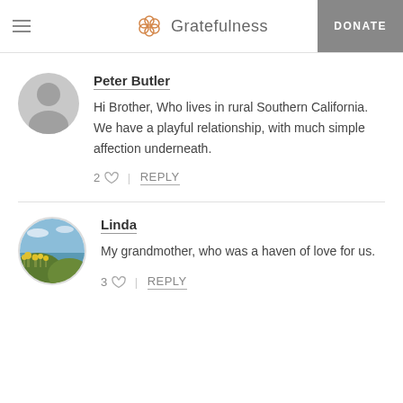Gratefulness — DONATE
[Figure (other): Default grey user avatar placeholder for Peter Butler]
Peter Butler
Hi Brother, Who lives in rural Southern California. We have a playful relationship, with much simple affection underneath.
2 ♡  |  REPLY
[Figure (photo): Circular profile photo of Linda showing a scenic outdoor coastal/lake scene with yellow wildflowers and blue sky]
Linda
My grandmother, who was a haven of love for us.
3 ♡  |  REPLY